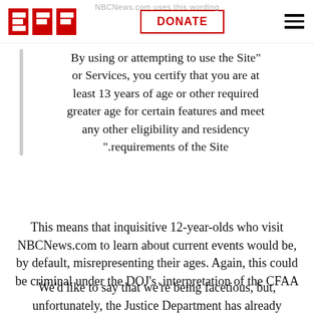NBCNews.com uses this wording
[Figure (logo): EFF (Electronic Frontier Foundation) logo in red, DONATE button with red border, hamburger menu icon]
By using or attempting to use the Site" or Services, you certify that you are at least 13 years of age or other required greater age for certain features and meet any other eligibility and residency ".requirements of the Site
This means that inquisitive 12-year-olds who visit NBCNews.com to learn about current events would be, by default, misrepresenting their ages. Again, this could be criminal under the DOJ's interpretation of the CFAA.
We’d like to say that we’re being facetious, but, unfortunately, the Justice Department has already